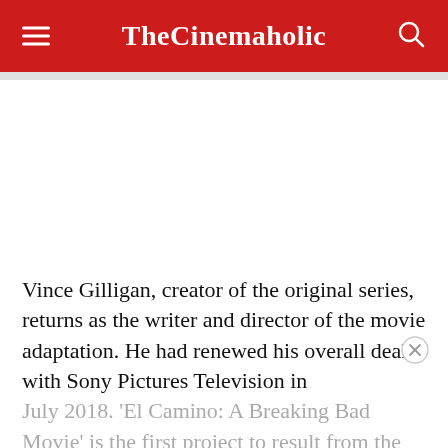TheCinemaholic
Vince Gilligan, creator of the original series, returns as the writer and director of the movie adaptation. He had renewed his overall deal with Sony Pictures Television in July 2018. 'El Camino: A Breaking Bad Movie' is the first project to result from the three-year deal.